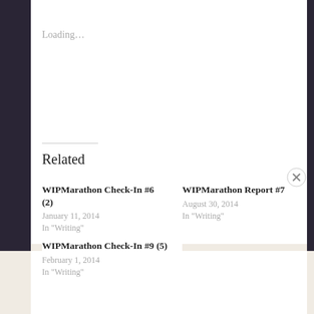Loading…
Related
WIPMarathon Check-In #6 (2)
January 11, 2014
In "Writing"
WIPMarathon Report #7
August 30, 2014
In "Writing"
WIPMarathon Check-In #9 (5)
February 1, 2014
In "Writing"
Advertisements
Need a website quickly — and on a budget?